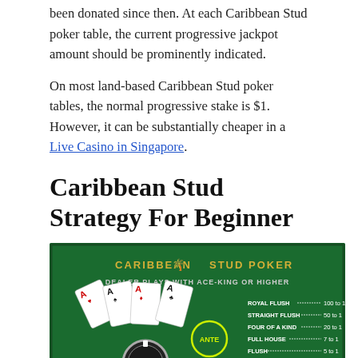been donated since then. At each Caribbean Stud poker table, the current progressive jackpot amount should be prominently indicated.
On most land-based Caribbean Stud poker tables, the normal progressive stake is $1. However, it can be substantially cheaper in a Live Casino in Singapore.
Caribbean Stud Strategy For Beginner
[Figure (photo): Caribbean Stud Poker promotional image showing playing cards, poker chip with ANTE and BET circles, and a payout table on a green background. Header reads 'CARIBBEAN STUD POKER' with a palm tree icon and 'DEALER PLAYS WITH ACE-KING OR HIGHER'. Payout table lists: Royal Flush 100 to 1, Straight Flush 50 to 1, Four of a Kind 20 to 1, Full House 7 to 1, Flush 5 to 1, Straight 4 to 1, Three of a Kind 3 to 1, Two Pair 2 to 1, One Pair or Lower 1 to 1.]